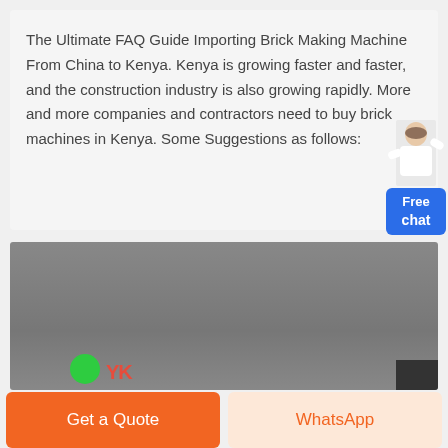The Ultimate FAQ Guide Importing Brick Making Machine From China to Kenya. Kenya is growing faster and faster, and the construction industry is also growing rapidly. More and more companies and contractors need to buy brick machines in Kenya. Some Suggestions as follows:
[Figure (photo): A photo of machinery/brick making equipment with a green circle, red text logo, and dark box overlay at bottom.]
Get a Quote
WhatsApp